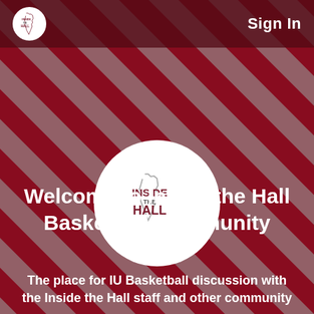Sign In
[Figure (logo): Inside the Hall basketball community logo — circular white badge with Indiana state outline and bold text INSIDE THE HALL]
Welcome to Inside the Hall Basketball Community
The place for IU Basketball discussion with the Inside the Hall staff and other community